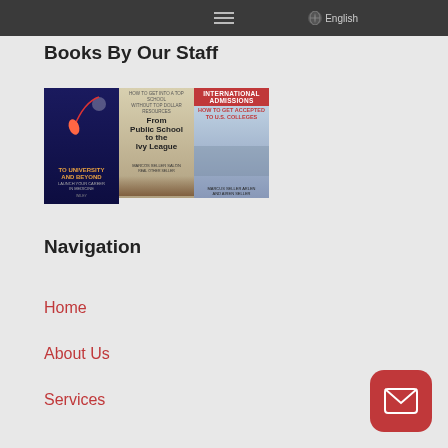☰  English
Books By Our Staff
[Figure (photo): Three book covers: 'To University and Beyond', 'From Public School to the Ivy League', and 'International Admissions: How to Get Accepted to U.S. Colleges']
Navigation
Home
About Us
Services